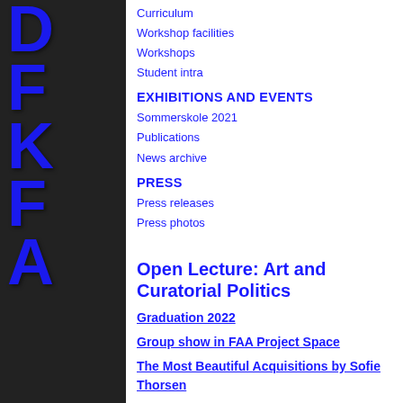[Figure (photo): Dark textured background with large blue bold letters D, F, K, F, A arranged vertically in sidebar]
Curriculum
Workshop facilities
Workshops
Student intra
EXHIBITIONS AND EVENTS
Sommerskole 2021
Publications
News archive
PRESS
Press releases
Press photos
Open Lecture: Art and Curatorial Politics
Graduation 2022
Group show in FAA Project Space
The Most Beautiful Acquisitions by Sofie Thorsen